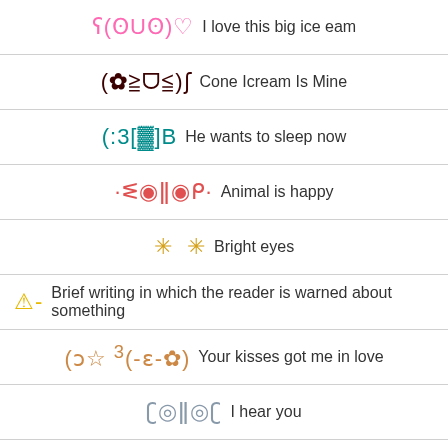ʕ(ʘUʘ)♡  I love this big ice eam
(✿≧ᗜ≦)ʃ  Cone Icream Is Mine
(:3[▓]B  He wants to sleep now
·ᓬ◉ǁ◉ᑭ·  Animal is happy
✳ ✳  Bright eyes
⚠- Brief writing in which the reader is warned about something
(ɔ☆ ³(-ɛ-✿)  Your kisses got me in love
ʗ◎ǁ◎ʗ  I hear you
q*  *ᑭ·  Fascinated bear